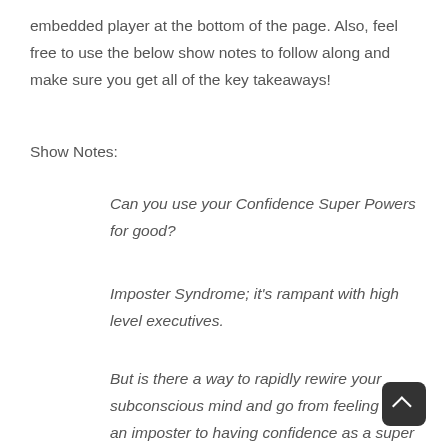embedded player at the bottom of the page. Also, feel free to use the below show notes to follow along and make sure you get all of the key takeaways!
Show Notes:
Can you use your Confidence Super Powers for good?
Imposter Syndrome; it's rampant with high level executives.
But is there a way to rapidly rewire your subconscious mind and go from feeling like an imposter to having confidence as a super power...